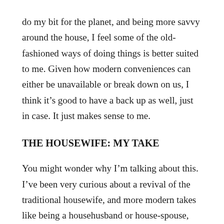do my bit for the planet, and being more savvy around the house, I feel some of the old-fashioned ways of doing things is better suited to me. Given how modern conveniences can either be unavailable or break down on us, I think it's good to have a back up as well, just in case. It just makes sense to me.
THE HOUSEWIFE: MY TAKE
You might wonder why I'm talking about this. I've been very curious about a revival of the traditional housewife, and more modern takes like being a househusband or house-spouse, where one partner is the primary breadwinner, while the other takes care of the home. For the purposes of this post, I will be focusing